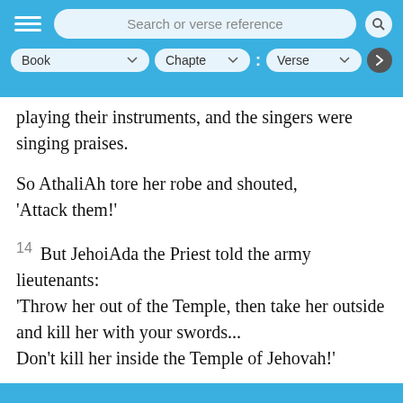Search or verse reference | Book | Chapter | Verse
playing their instruments, and the singers were singing praises.
So AthaliAh tore her robe and shouted, 'Attack them!'
14 But JehoiAda the Priest told the army lieutenants: 'Throw her out of the Temple, then take her outside and kill her with your swords... Don't kill her inside the Temple of Jehovah!'
15 Well at that, they released her. And as she was walking through the gate of the horsemen toward the king's palace, they killed her.
16 Then JehoiAda brought them to a covenant...